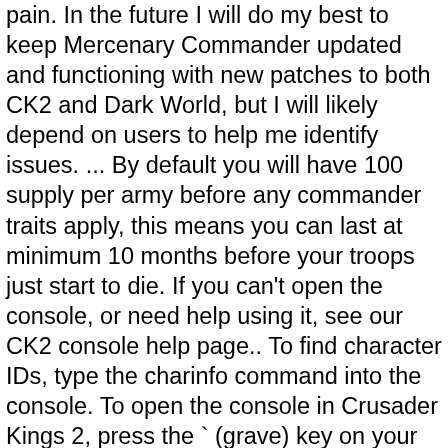pain. In the future I will do my best to keep Mercenary Commander updated and functioning with new patches to both CK2 and Dark World, but I will likely depend on users to help me identify issues. ... By default you will have 100 supply per army before any commander traits apply, this means you can last at minimum 10 months before your troops just start to die. If you can't open the console, or need help using it, see our CK2 console help page.. To find character IDs, type the charinfo command into the console. To open the console in Crusader Kings 2, press the ` (grave) key on your keyboard. Flat terrain expert is usually good. Flanker can be solid. Requirements. Reformed pagan religions with no religious head (Leadership: Autonomous) give their followers freedom to interpret the religion in different ways. The biggest contributor to this is that Paradox games are very accessible to modding, and feature great consoles for commands to be entered into. A ruler may appoint a woman in their court as a Shieldmaiden if: In all cases, the woman must have NONE of: Incapable , Inbred , Imbecile . So we bring you the best cheats for commands CK2! Paradoxints nt 10 Cheats mini round f